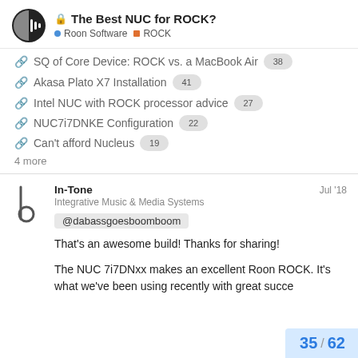The Best NUC for ROCK? [Roon Software] [ROCK]
SQ of Core Device: ROCK vs. a MacBook Air 38
Akasa Plato X7 Installation 41
Intel NUC with ROCK processor advice 27
NUC7i7DNKE Configuration 22
Can't afford Nucleus 19
4 more
In-Tone  Jul '18
Integrative Music & Media Systems
@dabassgoesboomboom
That's an awesome build! Thanks for sharing!

The NUC 7i7DNxx makes an excellent Roon ROCK. It's what we've been using recently with great succe
35 / 62